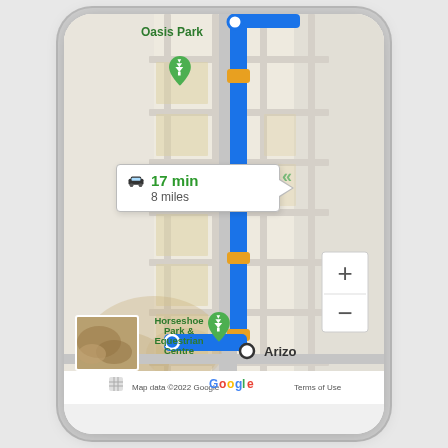[Figure (map): Google Maps screenshot showing a driving route. The map displays a blue route from a starting point near Oasis Park (marked with a green location pin) to a destination labeled 'Arizo' (partially visible). The route is shown in blue with orange highlights indicating traffic or caution areas. A white info box shows '17 min, 8 miles' with a car icon. Places visible include 'Oasis Park', 'Horseshoe Park & Equestrian Centre', 'San Tan Mountain' area, and a Google logo. Map data ©2022 Google. Zoom controls (+/-) appear on the right side. A terrain thumbnail is visible in the lower left.]